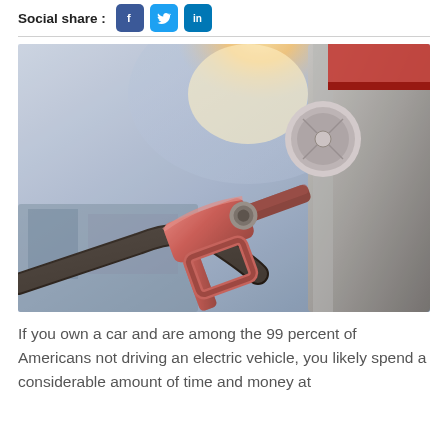Social share :
[Figure (photo): Close-up of a red fuel nozzle being inserted into a car's fuel tank, with warm sunlight in the background]
If you own a car and are among the 99 percent of Americans not driving an electric vehicle, you likely spend a considerable amount of time and money at